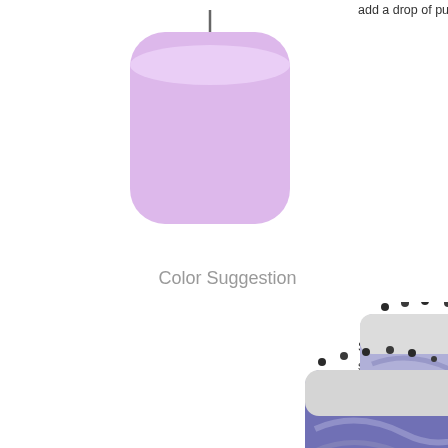[Figure (photo): Light purple/lavender pillar candle on white background]
Color Suggestion
add a drop of purple liquid candle dy...
[Figure (photo): Two bars of blue and white swirled soap with lavender buds on top]
Since th... soaps li... this frag...
Best Lave...
[Figure (photo): Bunch of purple lavender flowers against a light purple background with yellow flowers at the bottom]
Also, check... Garden is a... lifted with e... green acce...